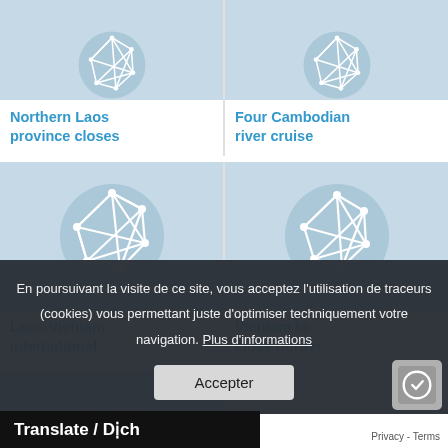[Figure (screenshot): Website screenshot showing article cards with network/connectivity icons and headlines about Southeast Asian travel/border news, overlaid with a French cookie consent banner and a Translate bar at the bottom.]
Northern Laos province closes
Four Cambodian river cruise
[Figure (illustration): Network connectivity icon — white polygon network on light blue circle background]
[Figure (illustration): Network connectivity icon — white polygon network on light blue circle background]
Laos-Vietnam international
Vietnam to close border
[Figure (illustration): Partial network connectivity icon — white polygon network on light blue circle background]
Vietnam to test
En poursuivant la visite de ce site, vous acceptez l'utilisation de traceurs (cookies) vous permettant juste d'optimiser techniquement votre navigation. Plus d'informations
Accepter
Translate / Dịch
Privacy - Terms